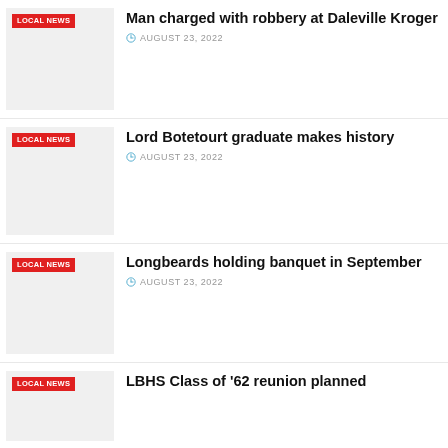[Figure (photo): Thumbnail image placeholder with LOCAL NEWS tag overlay]
Man charged with robbery at Daleville Kroger
AUGUST 23, 2022
[Figure (photo): Thumbnail image placeholder with LOCAL NEWS tag overlay]
Lord Botetourt graduate makes history
AUGUST 23, 2022
[Figure (photo): Thumbnail image placeholder with LOCAL NEWS tag overlay]
Longbeards holding banquet in September
AUGUST 23, 2022
[Figure (photo): Thumbnail image placeholder with LOCAL NEWS tag overlay]
LBHS Class of '62 reunion planned